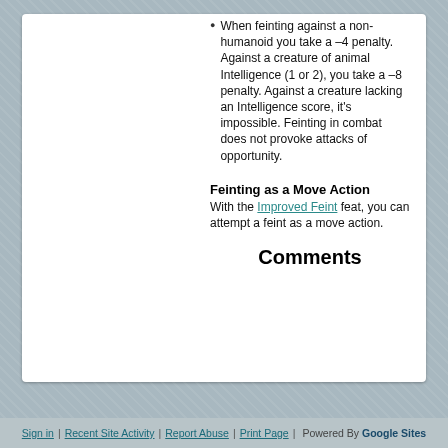When feinting against a non-humanoid you take a –4 penalty. Against a creature of animal Intelligence (1 or 2), you take a –8 penalty. Against a creature lacking an Intelligence score, it's impossible. Feinting in combat does not provoke attacks of opportunity.
Feinting as a Move Action
With the Improved Feint feat, you can attempt a feint as a move action.
Comments
Sign in | Recent Site Activity | Report Abuse | Print Page | Powered By Google Sites